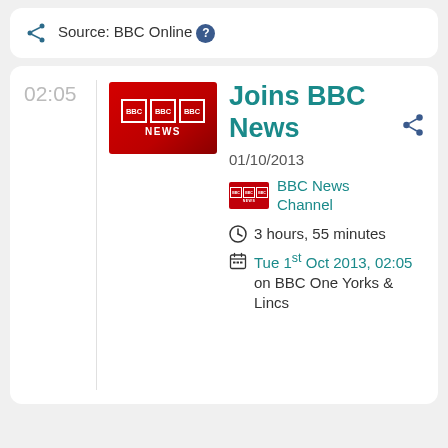Source: BBC Online ?
02:05
[Figure (logo): BBC News red logo thumbnail]
Joins BBC News
01/10/2013
[Figure (logo): BBC News Channel small logo]
BBC News Channel
3 hours, 55 minutes
Tue 1st Oct 2013, 02:05 on BBC One Yorks & Lincs